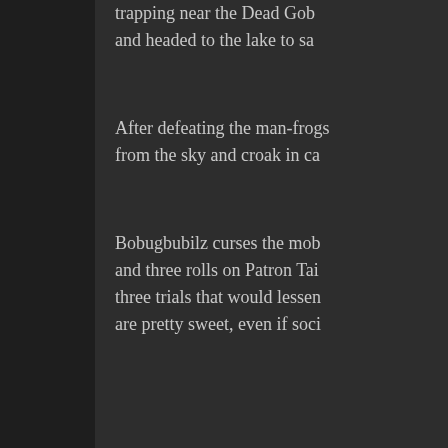trapping near the Dead Gob and headed to the lake to sa
After defeating the man-frogs from the sky and croak in ca
Bobugbubilz curses the mob and three rolls on Patron Tai three trials that would lessen are pretty sweet, even if soci
Trial I – Frog Food (Level 1) -
Deep within the Sagewood (t twisted and evil. Below the o are Bobugbubilz favored foo
After killing the Vile Worm fro worm godling can stand befo
Trial II – Offender's Legacy (
Dellspero the Philosopher's o
After the deal is